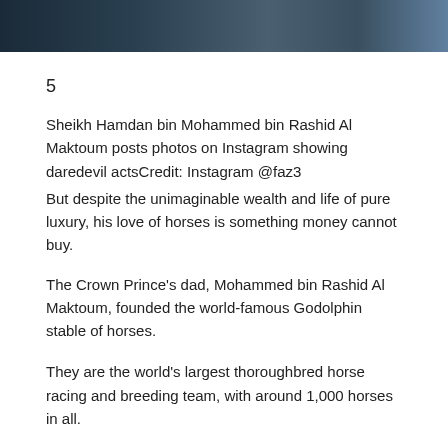[Figure (photo): Partial photo strip at top of page showing dark blue/teal tones, appears to be an outdoor or person photo cropped at the top]
5
Sheikh Hamdan bin Mohammed bin Rashid Al Maktoum posts photos on Instagram showing daredevil actsCredit: Instagram @faz3
But despite the unimaginable wealth and life of pure luxury, his love of horses is something money cannot buy.
The Crown Prince’s dad, Mohammed bin Rashid Al Maktoum, founded the world-famous Godolphin stable of horses.
They are the world’s largest thoroughbred horse racing and breeding team, with around 1,000 horses in all.
And Fazza, who has more than 11million Instagram followers, loves posting photos with iconic names such as Pinatubo – who